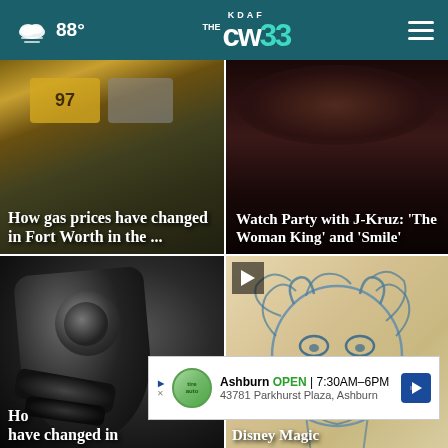88° KDAF CW33
[Figure (photo): Gas price display at a fuel pump, headline overlay: How gas prices have changed in Fort Worth in the ...]
[Figure (photo): Crowd scene, headline overlay: Watch Party with J-Kruz: 'The Woman King' and 'Smile']
[Figure (photo): Close-up of a fuel pump nozzle, black equipment]
[Figure (photo): Disney sketch illustration of an animated character with blue pencil lines, play button overlay]
How gas prices have changed in Fort Worth in the ...
Disney Magic
Ashburn OPEN 7:30AM–6PM 43781 Parkhurst Plaza, Ashburn